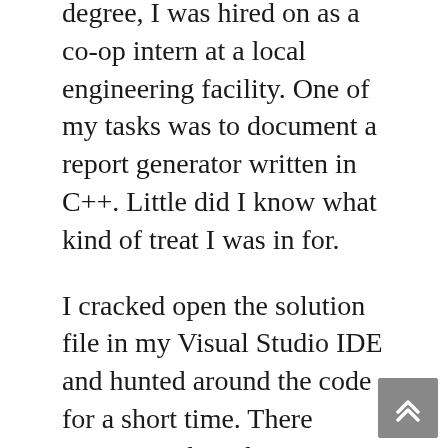degree, I was hired on as a co-op intern at a local engineering facility. One of my tasks was to document a report generator written in C++. Little did I know what kind of treat I was in for.
I cracked open the solution file in my Visual Studio IDE and hunted around the code for a short time. There wasn't much to the project – typical resource and header files you would see in a legacy MFC-based application. The app had a single application window that contained the entire logic for the application. I was immediately concerned, considering how long the former developer had worked on this and how important the generated reports were.
When I opened the code file containing the logic, my mouth dropped to the floor. The file was thousands upon thousands of lines of code in length. What made matters even more iss: